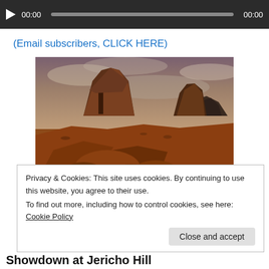[Figure (screenshot): Audio player bar with play button, 00:00 timestamp, progress bar, and 00:00 end time on dark background]
(Email subscribers, CLICK HERE)
[Figure (photo): Monument Valley landscape with two large buttes (mittens) rising from red desert floor under dramatic cloudy sky]
Privacy & Cookies: This site uses cookies. By continuing to use this website, you agree to their use.
To find out more, including how to control cookies, see here: Cookie Policy
Close and accept
Showdown at Jericho Hill